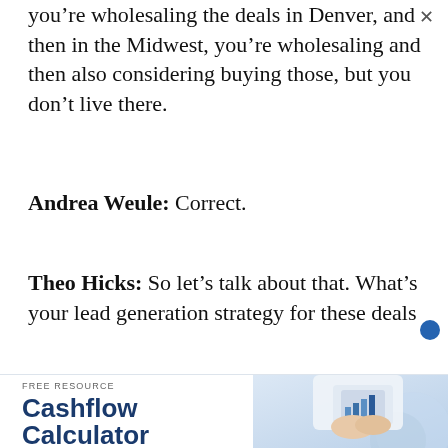you're wholesaling the deals in Denver, and then in the Midwest, you're wholesaling and then also considering buying those, but you don't live there.
Andrea Weule: Correct.
Theo Hicks: So let's talk about that. What's your lead generation strategy for these deals that you are far from?
[Figure (infographic): Advertisement banner for a free resource: Cashflow Calculator. Shows a 'FREE RESOURCE' label, large bold title 'Cashflow Calculator', a 'DOWNLOAD NOW' button, and a photo of hands holding a tablet over financial charts, with a dark blue card overlay reading 'CASH FLOW CALCULATOR'.]